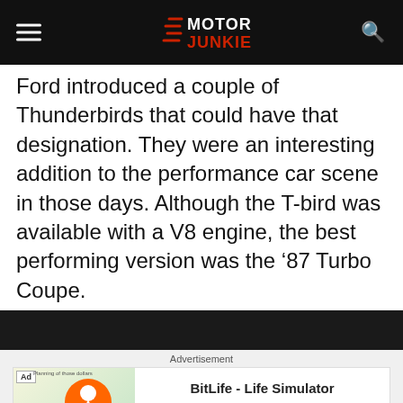Motor Junkie
Ford introduced a couple of Thunderbirds that could have that designation. They were an interesting addition to the performance car scene in those days. Although the T-bird was available with a V8 engine, the best performing version was the '87 Turbo Coupe.
[Figure (photo): Dark image strip at bottom of page]
Advertisement
[Figure (screenshot): BitLife - Life Simulator advertisement banner with emoji mascot and BitLife logo on orange background]